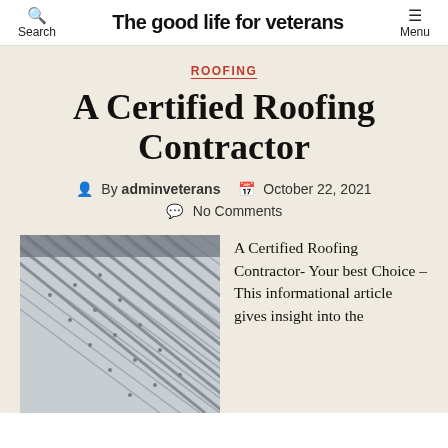Search | The good life for Veterans | Menu
ROOFING
A Certified Roofing Contractor
By adminveterans   October 22, 2021
No Comments
[Figure (photo): Close-up photo of a metal standing-seam roof showing parallel metal panels with ridges and fasteners, viewed at an angle.]
A Certified Roofing Contractor- Your best Choice – This informational article gives insight into the